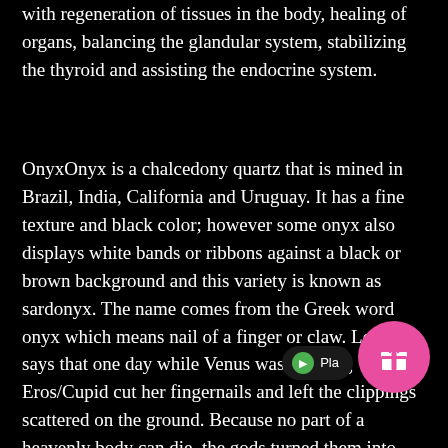with regeneration of tissues in the body, healing of organs, balancing the glandular system, stabilizing the thyroid and assisting the endocrine system.
OnyxOnyx is a chalcedony quartz that is mined in Brazil, India, California and Uruguay. It has a fine texture and black color; however some onyx also displays white bands or ribbons against a black or brown background and this variety is known as sardonyx. The name comes from the Greek word onyx which means nail of a finger or claw. Legend says that one day while Venus was sleeping Eros/Cupid cut her fingernails and left the clippings scattered on the ground. Because no part of a heavenly body can die, the gods turned them into stone which later became known as onyx. Originally, almost all colors of ch from white to dark brown and black were called onyx. Today when we think of onyx we often